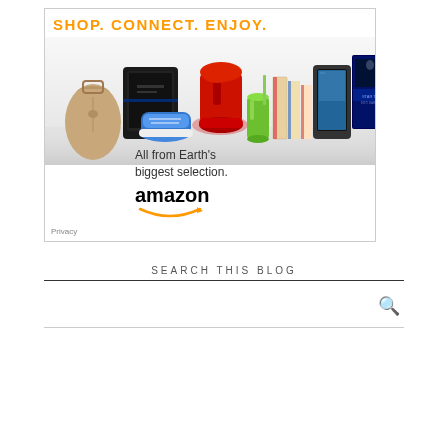[Figure (infographic): Amazon advertisement banner. Orange bold text at top reads 'SHOP. CONNECT. ENJOY.' Below is a collage of product images including a handbag, gaming console (PS4), red KitchenAid mixer, sneakers, green smoothie cup, books, Kindle tablet, and Star Trek movie case. Text reads 'All from Earth's biggest selection.' followed by the Amazon logo and smile arrow. 'Privacy' label in bottom left corner.]
SEARCH THIS BLOG
[Figure (screenshot): A blog search box with a magnifying glass icon on the right side, bordered top and bottom with horizontal lines.]